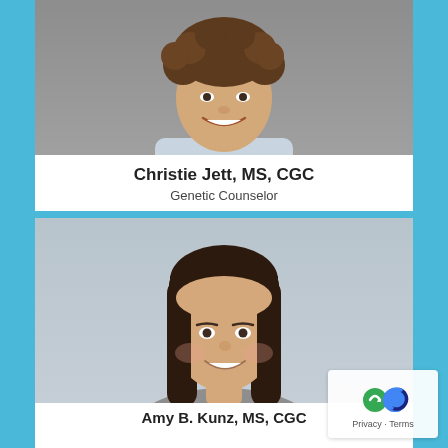[Figure (photo): Headshot photo of Christie Jett, a woman with curly hair, smiling, wearing a light cardigan]
Christie Jett, MS, CGC
Genetic Counselor
[Figure (photo): Headshot photo of Amy B. Kunz, a woman with long straight dark hair, smiling, wearing a gray top]
Amy B. Kunz, MS, CGC